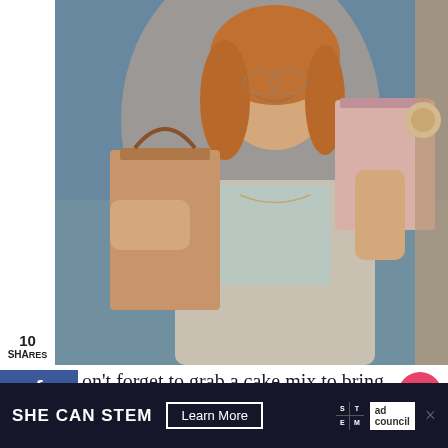[Figure (photo): Woman smiling, carrying shopping bags in a store doorway, wearing a light grey cardigan]
10
SHARES
f
394
P
673
Yum
1.1K
on't forget to grab a cake mix to bring home a souvenir (like I did)! You'll be happy you did
I've done a whole in-depth review of Erin McKenna's with amazing drool-worthy Click here to read it!
WHAT'S NEXT → HOW TO EAT GLUTEN-...
SHE CAN STEM  Learn More